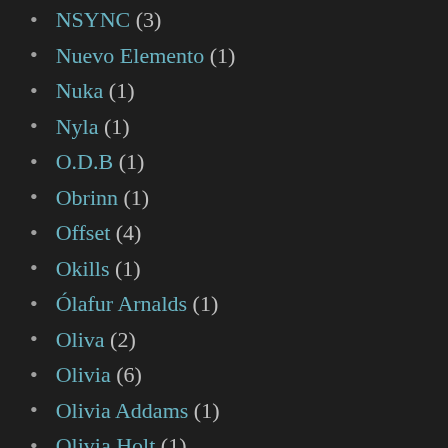NSYNC (3)
Nuevo Elemento (1)
Nuka (1)
Nyla (1)
O.D.B (1)
Obrinn (1)
Offset (4)
Okills (1)
Ólafur Arnalds (1)
Oliva (2)
Olivia (6)
Olivia Addams (1)
Olivia Holt (1)
Olivia O'Brien (1)
Olivia Rodrigo (10)
Olly Murs (16)